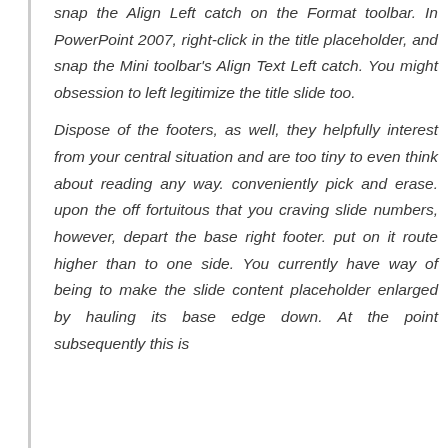snap the Align Left catch on the Format toolbar. In PowerPoint 2007, right-click in the title placeholder, and snap the Mini toolbar's Align Text Left catch. You might obsession to left legitimize the title slide too.

Dispose of the footers, as well, they helpfully interest from your central situation and are too tiny to even think about reading any way. conveniently pick and erase. upon the off fortuitous that you craving slide numbers, however, depart the base right footer. put on it route higher than to one side. You currently have way of being to make the slide content placeholder enlarged by hauling its base edge down. At the point subsequently this is